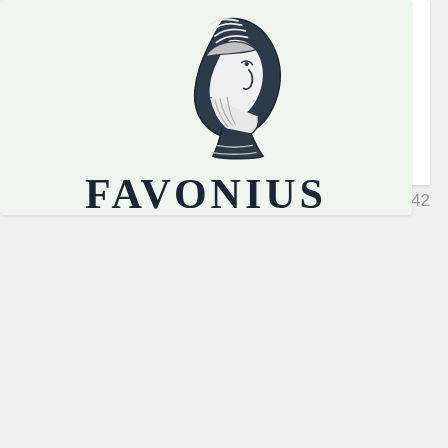[Figure (illustration): White card placeholder area at the top of the page]
by Rom@n
42
[Figure (logo): Favonius logo: a side-profile illustration of a bearded Roman or Greek figure wearing a helmet/headwrap, drawn in dark navy with gray shading, above the bold text FAVONIUS, on a light mint green background.]